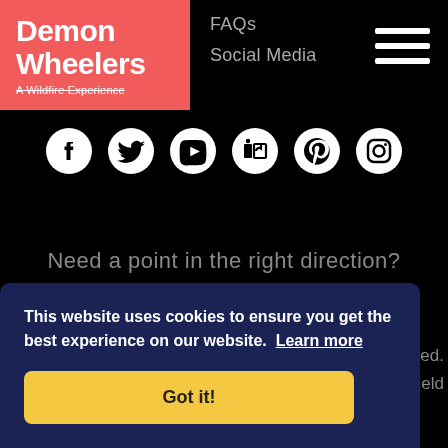[Figure (logo): Demon Wheelers logo — red/salmon background with white bold text 'Demon Wheelers' and subtitle 'A Wildfire Experience' with strikethrough]
FAQs
Social Media
[Figure (infographic): Row of social media icons: Facebook, Twitter, YouTube, LinkedIn, Pinterest, Instagram — white icons on black background]
Need a point in the right direction?
ed.
effield
This website uses cookies to ensure you get the best experience on our website. Learn more
Got it!